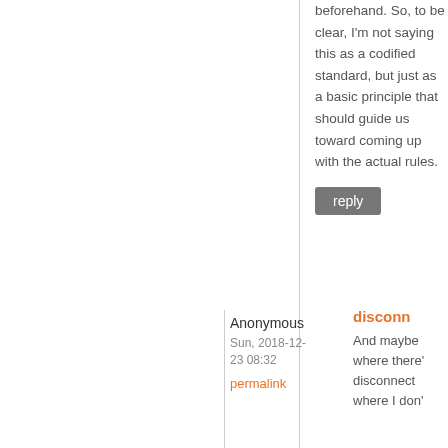beforehand. So, to be clear, I'm not saying this as a codified standard, but just as a basic principle that should guide us toward coming up with the actual rules.
reply
Anonymous
Sun, 2018-12-23 08:32
permalink
disconn
And maybe where there's disconnect where I don't